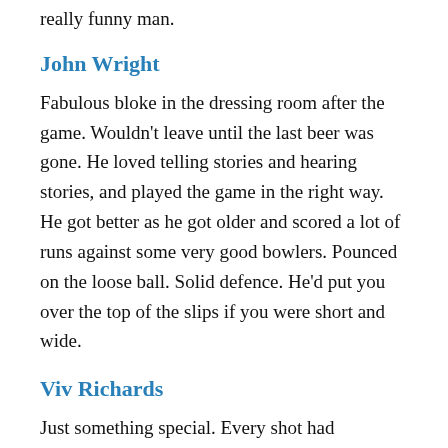really funny man.
John Wright
Fabulous bloke in the dressing room after the game. Wouldn't leave until the last beer was gone. He loved telling stories and hearing stories, and played the game in the right way. He got better as he got older and scored a lot of runs against some very good bowlers. Pounced on the loose ball. Solid defence. He'd put you over the top of the slips if you were short and wide.
Viv Richards
Just something special. Every shot had blistering power, aura. Everything about him was phenomenal. The way he swaggered out there